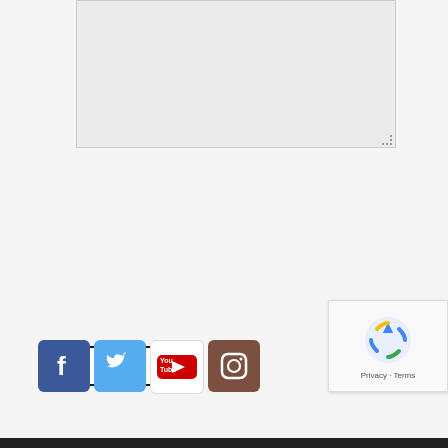[Figure (screenshot): A textarea input field with light gray background and resize handle in bottom-right corner]
SEND
Follow Us
[Figure (infographic): Social media icons row: Facebook (blue), Twitter (blue bird), YouTube (red/white), Instagram (brown camera)]
[Figure (screenshot): reCAPTCHA widget showing spinning arrows logo and Privacy - Terms text]